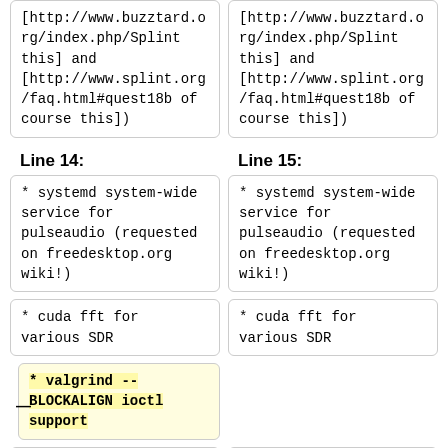[http://www.buzztard.org/index.php/Splint this] and [http://www.splint.org/faq.html#quest18b of course this])
[http://www.buzztard.org/index.php/Splint this] and [http://www.splint.org/faq.html#quest18b of course this])
Line 14:
Line 15:
* systemd system-wide service for pulseaudio (requested on freedesktop.org wiki!)
* systemd system-wide service for pulseaudio (requested on freedesktop.org wiki!)
* cuda fft for various SDR
* cuda fft for various SDR
* valgrind --BLOCKALIGN ioctl support
* step-cli -- update debian stuff, make it bizzuild
* step-cli -- update debian stuff, make it bizzuild